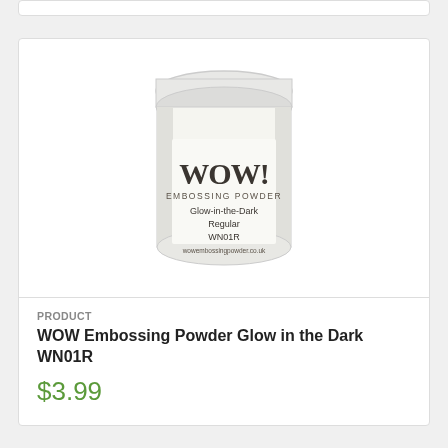[Figure (photo): Top edge of a white product card, partially cropped at the top of the page]
[Figure (photo): WOW Embossing Powder Glow-in-the-Dark Regular WN01R product jar — a small clear plastic jar with white powder inside, label reads WOW! EMBOSSING POWDER Glow-in-the-Dark Regular WN01R wowembossingpowder.co.uk]
PRODUCT
WOW Embossing Powder Glow in the Dark WN01R
$3.99
[Figure (photo): Bottom partially visible product card showing top of a blue-lidded jar, cropped at bottom of page]